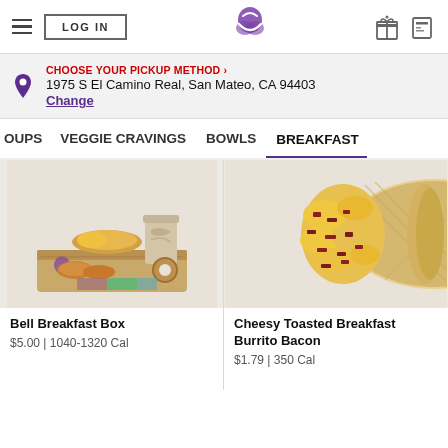LOG IN | Taco Bell | Gift | Card
CHOOSE YOUR PICKUP METHOD › 1975 S El Camino Real, San Mateo, CA 94403 Change
OUPS  VEGGIE CRAVINGS  BOWLS  BREAKFAST
[Figure (photo): Bell Breakfast Box meal photo showing breakfast items in a cardboard box with a drink and pastries]
Bell Breakfast Box
$5.00 | 1040-1320 Cal
[Figure (photo): Cheesy Toasted Breakfast Burrito Bacon close-up showing melted cheese and bacon inside a toasted flour tortilla]
Cheesy Toasted Breakfast Burrito Bacon
$1.79 | 350 Cal